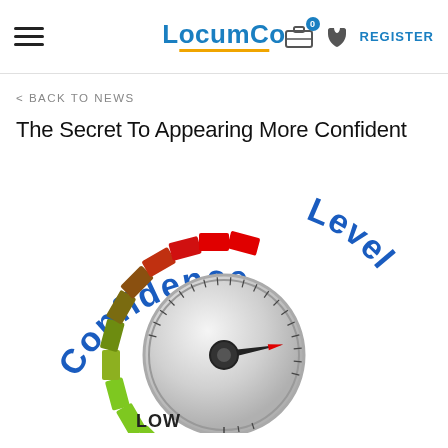LocumCo — REGISTER
< BACK TO NEWS
The Secret To Appearing More Confident
[Figure (illustration): A confidence level dial/knob graphic with the word 'Confidence' arcing over the top in blue letters and 'Level' arcing on the right side in blue letters. The dial has colored tick marks in green (left/low side) through olive/brown (middle/top) through red (right side). 'LOW' is written at the bottom left, and the needle/pointer points toward the red/high side.]